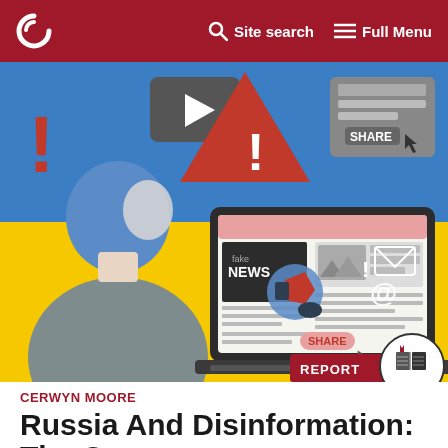Site search | Full Menu
[Figure (illustration): Illustration of a person sitting at a laptop viewing a news page, surrounded by disinformation icons: warning triangle with exclamation mark, video play button, share button, envelope, at-sign, megaphone. The background features the blue and yellow colors of the Ukrainian flag.]
CERWYN MOORE
Russia And Disinformation: The Case